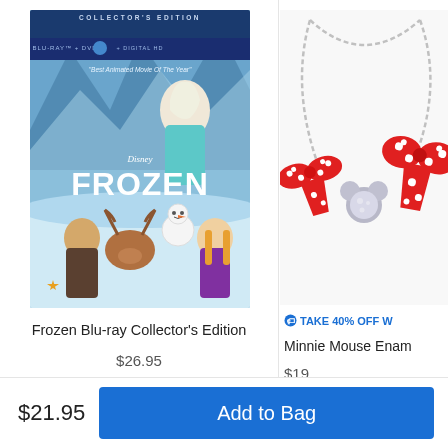[Figure (photo): Disney Frozen Collector's Edition Blu-ray + DVD + Digital HD movie cover, showing Elsa, Anna, Kristoff, Sven, and Olaf. Text reads COLLECTOR'S EDITION, BLU-RAY + DVD + DIGITAL HD, Best Animated Movie Of The Year, Disney FROZEN.]
Frozen Blu-ray Collector's Edition
$26.95
★★★★★ (2)
[Figure (photo): Minnie Mouse enamel charm necklace with red and white polka dot bow charms and a rhinestone Minnie head charm on a silver chain.]
TAKE 40% OFF W
Minnie Mouse Enam
$19.
★★★★
$21.95
Add to Bag